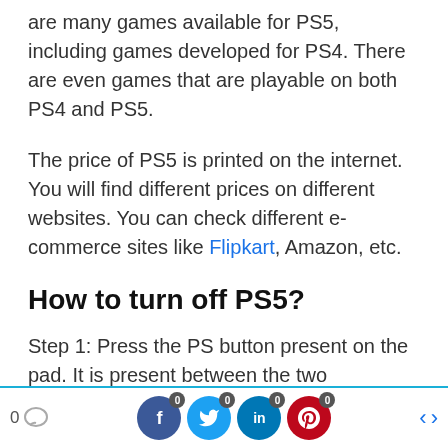are many games available for PS5, including games developed for PS4. There are even games that are playable on both PS4 and PS5.
The price of PS5 is printed on the internet. You will find different prices on different websites. You can check different e-commerce sites like Flipkart, Amazon, etc.
How to turn off PS5?
Step 1: Press the PS button present on the pad. It is present between the two
0 [comment] | f 0 | t 0 | in 0 | p 0 | < | >